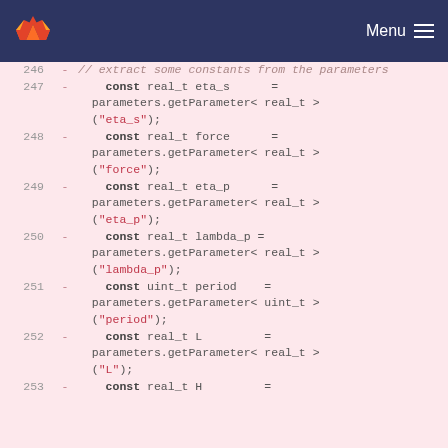Menu
[Figure (screenshot): GitLab logo flame icon in page header]
246  -   // extract some constants from the parameters
247  -       const real_t eta_s      = parameters.getParameter< real_t >("eta_s");
248  -       const real_t force      = parameters.getParameter< real_t >("force");
249  -       const real_t eta_p      = parameters.getParameter< real_t >("eta_p");
250  -       const real_t lambda_p   = parameters.getParameter< real_t >("lambda_p");
251  -       const uint_t period     = parameters.getParameter< uint_t >("period");
252  -       const real_t L          = parameters.getParameter< real_t >("L");
253  -       const real_t H          =